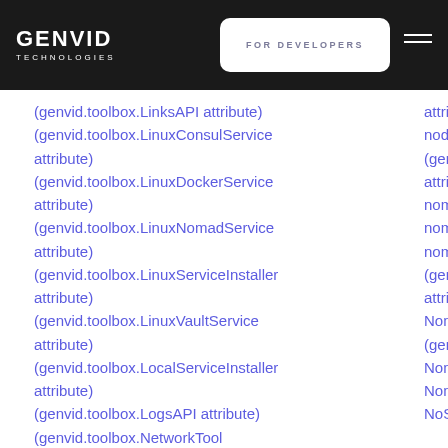GENVID TECHNOLOGIES | FOR DEVELOPERS
(genvid.toolbox.LinksAPI attribute)
(genvid.toolbox.LinuxConsulService attribute)
(genvid.toolbox.LinuxDockerService attribute)
(genvid.toolbox.LinuxNomadService attribute)
(genvid.toolbox.LinuxServiceInstaller attribute)
(genvid.toolbox.LinuxVaultService attribute)
(genvid.toolbox.LocalServiceInstaller attribute)
(genvid.toolbox.LogsAPI attribute)
(genvid.toolbox.NetworkTool attribute)
attribute)
node_id (genvid.toolb attribute)
nomad (genv
nomad.Noma
nomad_temp
(genvid.toolb attribute)
NomadInitial
(genvid.toolb
NomadServic
NomadTool (g
NoSuchBucke